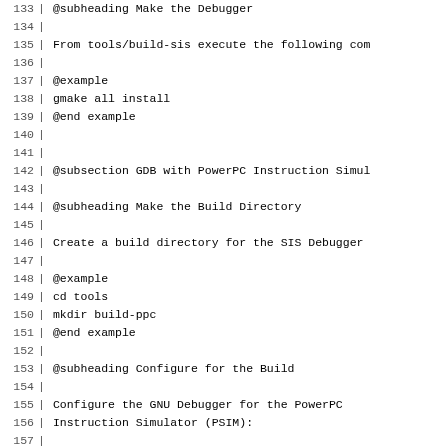133 | @subheading Make the Debugger
134 | 
135 | From tools/build-sis execute the following com
136 | 
137 | @example
138 | gmake all install
139 | @end example
140 | 
141 | 
142 | @subsection GDB with PowerPC Instruction Simul
143 | 
144 | @subheading Make the Build Directory
145 | 
146 | Create a build directory for the SIS Debugger
147 | 
148 | @example
149 | cd tools
150 | mkdir build-ppc
151 | @end example
152 | 
153 | @subheading Configure for the Build
154 | 
155 | Configure the GNU Debugger for the PowerPC
156 | Instruction Simulator (PSIM):
157 | 
158 | @example
159 | cd tools/build-ppc
160 | ../@value{GDB-UNTAR}/configure \
161 |         --target=powerpc-unknown-eabi \
162 |         --program-prefix=powerpc-rtems- \
163 |         --enable-sim-powerpc \